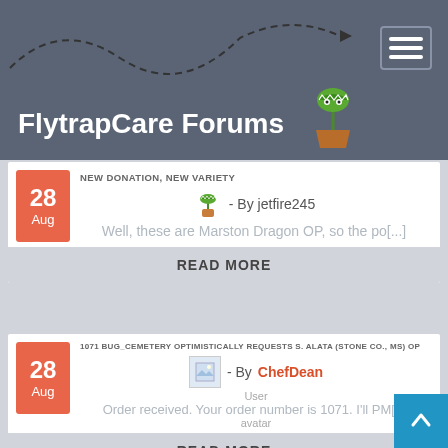FlytrapCare Forums
NEW DONATION, NEW VARIETY
- By jetfire245
Well, these are Marston Dragon OP, so the po[...]
READ MORE
1071 BUG_CEMETERY OPTIMISTICALLY REQUESTS S. ALATA (STONE CO., MS) OP
- By ChefDean
Order received. Your order number is 1071. I'll PM[...] avatar
READ MORE